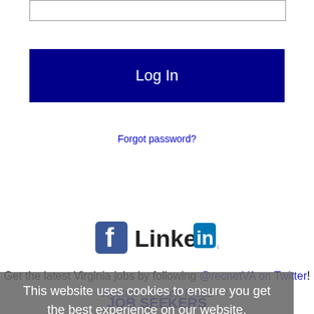[Figure (other): Text input box at top of login form]
[Figure (other): Dark navy blue Log In button]
Forgot password?
[Figure (logo): Facebook and LinkedIn social login icons]
Get the latest Virginia jobs by following @recnetVA on Twitter!
Reston RSS job feeds
This website uses cookies to ensure you get the best experience on our website.
Learn more
[Figure (other): Yellow Got it! cookie consent button]
JOB SEEKERS